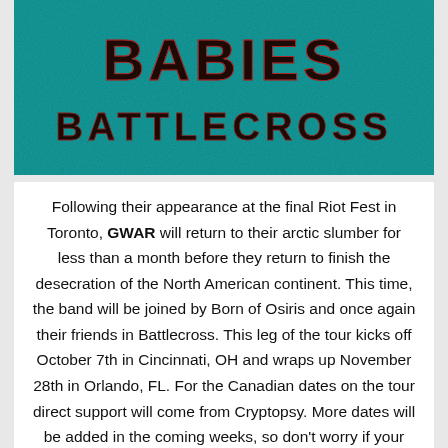[Figure (illustration): Band logo / promo image showing 'BABIES' text in dark metallic letters and 'BATTLECROSS' below it, on a teal/turquoise distressed background.]
Following their appearance at the final Riot Fest in Toronto, GWAR will return to their arctic slumber for less than a month before they return to finish the desecration of the North American continent. This time, the band will be joined by Born of Osiris and once again their friends in Battlecross. This leg of the tour kicks off October 7th in Cincinnati, OH and wraps up November 28th in Orlando, FL. For the Canadian dates on the tour direct support will come from Cryptopsy. More dates will be added in the coming weeks, so don't worry if your Intergalactic rock gods have yet to announce a date in your town. Tickets